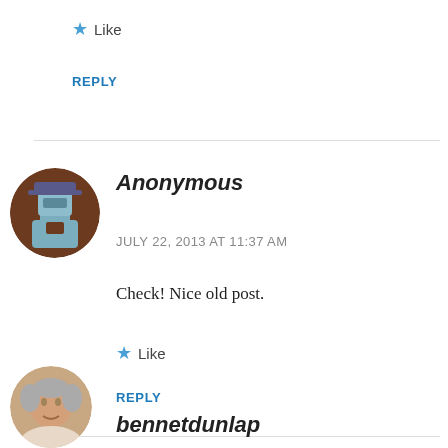★ Like
REPLY
Anonymous
JULY 22, 2013 AT 11:37 AM
Check! Nice old post.
★ Like
REPLY
bennetdunlap